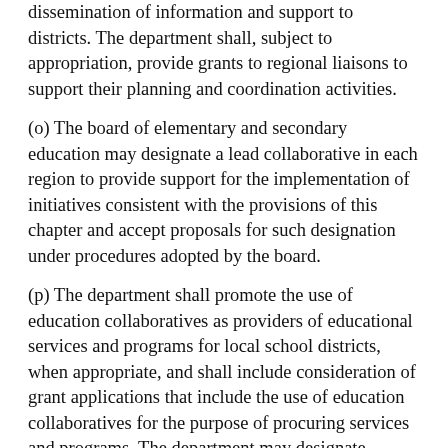dissemination of information and support to districts. The department shall, subject to appropriation, provide grants to regional liaisons to support their planning and coordination activities.
(o) The board of elementary and secondary education may designate a lead collaborative in each region to provide support for the implementation of initiatives consistent with the provisions of this chapter and accept proposals for such designation under procedures adopted by the board.
(p) The department shall promote the use of education collaboratives as providers of educational services and programs for local school districts, when appropriate, and shall include consideration of grant applications that include the use of education collaboratives for the purpose of procuring services and programs. The department may designate educational collaboratives as eligible recipients for any applicable federal or state grants to cities, towns, and regional school districts for educational programs.
(q) An education collaborative formed pursuant to this section may provide services to developmentally disabled individuals over the age of 22, upon approval from the board of directors and the members of the collaborative of the collaborative.